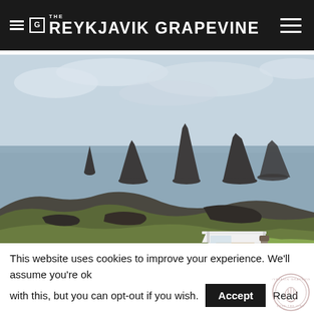THE G REYKJAVÍK GRAPEVINE
[Figure (photo): Golf cart on a seaside golf course in Iceland with dramatic rock formations (islands) rising from the ocean in the background, rugged lava fields, green grass, and overcast sky.]
This website uses cookies to improve your experience. We'll assume you're ok with this, but you can opt-out if you wish. Accept Read